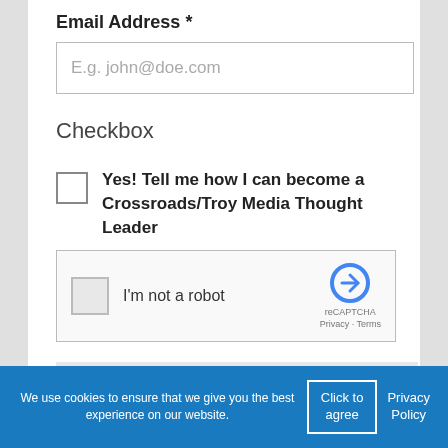Email Address *
E.g. john@doe.com
Checkbox
Yes! Tell me how I can become a Crossroads/Troy Media Thought Leader
[Figure (other): reCAPTCHA widget with checkbox, 'I'm not a robot' text, reCAPTCHA logo, Privacy and Terms links]
Subscribe
We use cookies to ensure that we give you the best experience on our website.
Click to agree
Privacy Policy